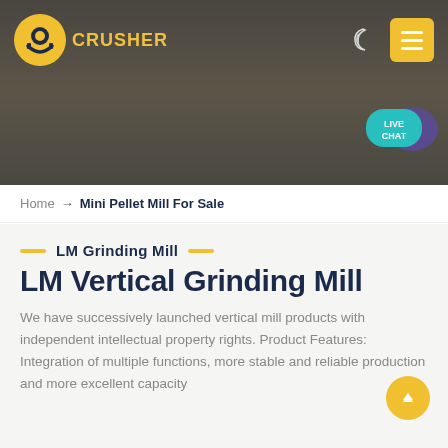[Figure (photo): Hero banner showing industrial rock crushing machinery and quarry site with dark overlay, featuring a logo and navigation icons]
CRUSHER — Home → Mini Pellet Mill For Sale
LM Grinding Mill
LM Vertical Grinding Mill
We have successively launched vertical mill products with independent intellectual property rights. Product Features: Integration of multiple functions, more stable and reliable production and more excellent capacity